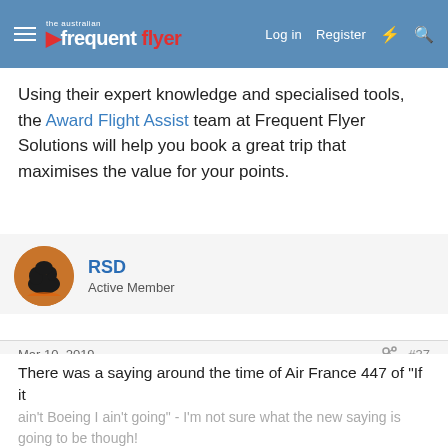the australian frequent flyer — Log in | Register
Using their expert knowledge and specialised tools, the Award Flight Assist team at Frequent Flyer Solutions will help you book a great trip that maximises the value for your points.
RSD
Active Member
Mar 10, 2019  #37
jakeseven7 said: ↑
Would you happily jump on one tonight without a second glance?
I work in stats for a living lol and this has me wondering what's going on with this new plane...
There was a saying around the time of Air France 447 of "If it ain't Boeing I ain't going" - I'm not sure what the new saying is going to be though!